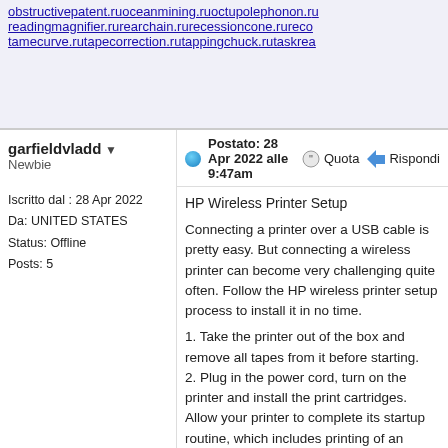obstructivepatent.ruoceanmining.ruoctupolephonon.rureadingmagnifier.rurearchain.rurecessioncone.rurecotamecurve.rutapecorrection.rutappingchuck.rutaskrea
garfieldvladd ▾
Newbie
Iscritto dal : 28 Apr 2022
Da: UNITED STATES
Status: Offline
Posts: 5
Postato: 28 Apr 2022 alle 9:47am
Quota  Rispondi
HP Wireless Printer Setup
Connecting a printer over a USB cable is pretty easy. But connecting a wireless printer can become very challenging quite often. Follow the HP wireless printer setup process to install it in no time.
1. Take the printer out of the box and remove all tapes from it before starting.
2. Plug in the power cord, turn on the printer and install the print cartridges. Allow your printer to complete its startup routine, which includes printing of an alignment page (if applicable).
3. Go to the manufacturer's website and download drivers for your printer model.
4. Install the drivers and follow the instructions during hp wireless printer setup process.